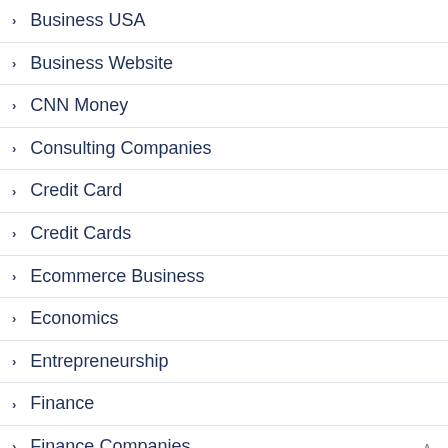Business USA
Business Website
CNN Money
Consulting Companies
Credit Card
Credit Cards
Ecommerce Business
Economics
Entrepreneurship
Finance
Finance Companies
Finance Definition